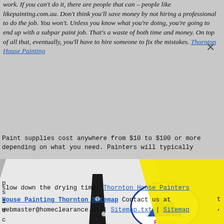work. If you can't do it, there are people that can – people like likepainting.com.au. Don't think you'll save money by not hiring a professional to do the job. You won't. Unless you know what you're doing, you're going to end up with a subpar paint job. That's a waste of both time and money. On top of all that, eventually, you'll have to hire someone to fix the mistakes. Thornton House Painting
Paint supplies cost anywhere from $10 to $100 or more depending on what you need. Painters will typically p s i d c a a P i h 5 t s t slow down the drying time. Thornton House Painters
[Figure (photo): Black and white photo of a man in a white suit with a polka dot tie and pocket square, with an Ambassador Painting logo on his chest. A bright yellow triangle overlays the right portion of the image.]
House Painting Thornton Sitemap Contact us at webmaster@homeclearance.us | Sitemap.txt | Sitemap